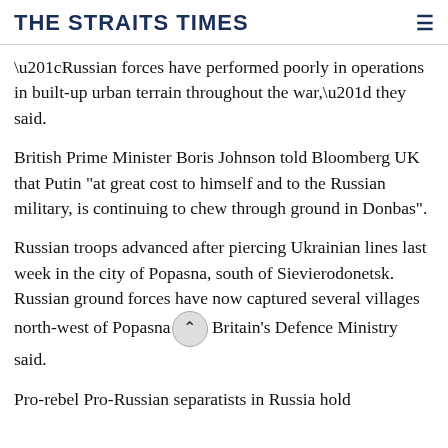THE STRAITS TIMES
“Russian forces have performed poorly in operations in built-up urban terrain throughout the war,” they said.
British Prime Minister Boris Johnson told Bloomberg UK that Putin "at great cost to himself and to the Russian military, is continuing to chew through ground in Donbas".
Russian troops advanced after piercing Ukrainian lines last week in the city of Popasna, south of Sievierodonetsk. Russian ground forces have now captured several villages north-west of Popasna, Britain's Defence Ministry said.
Pro-rebel Pro-Russian separatists in Russia hold...